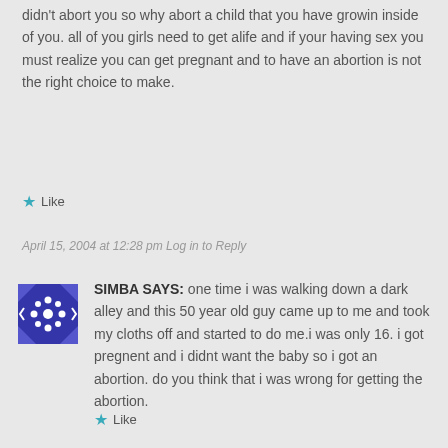didn't abort you so why abort a child that you have growin inside of you. all of you girls need to get alife and if your having sex you must realize you can get pregnant and to have an abortion is not the right choice to make.
★ Like
April 15, 2004 at 12:28 pm Log in to Reply
[Figure (illustration): Blue geometric avatar icon with diamond/arrow pattern]
SIMBA SAYS: one time i was walking down a dark alley and this 50 year old guy came up to me and took my cloths off and started to do me.i was only 16. i got pregnent and i didnt want the baby so i got an abortion. do you think that i was wrong for getting the abortion.
★ Like